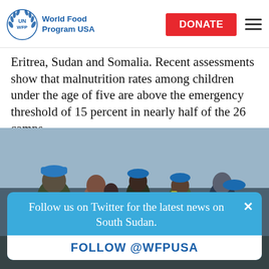UN WFP World Food Program USA | DONATE
Eritrea, Sudan and Somalia. Recent assessments show that malnutrition rates among children under the age of five are above the emergency threshold of 15 percent in nearly half of the 26 camps.
[Figure (photo): Group of people including WFP workers in blue caps gathered outdoors, looking at documents]
Follow us on Twitter for the latest news on South Sudan.
FOLLOW @WFPUSA